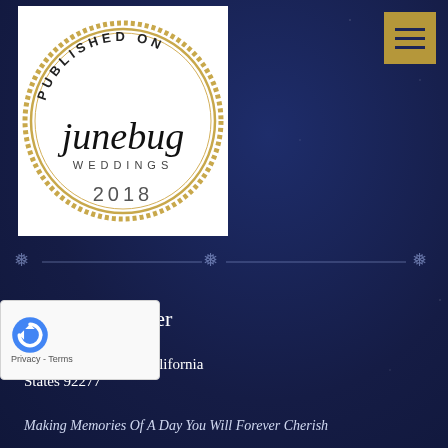[Figure (logo): Junebug Weddings 'Published On' circular badge with gold ring border, 2018]
[Figure (other): Horizontal decorative divider with snowflake/asterisk ornaments on each end and a thin line across the full width]
[Figure (other): Gold/yellow hamburger menu button icon in top right corner]
The Vow Keeper
(760) 399-6789
Twentynine Palms, California
States 92277
Making Memories Of A Day You Will Forever Cherish
[Figure (other): reCAPTCHA widget overlay with circular arrow logo and Privacy - Terms text]